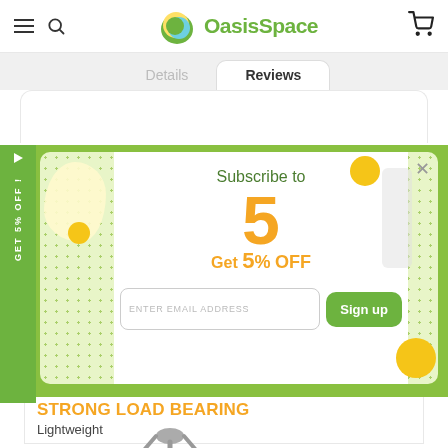OasisSpace — navigation header with hamburger menu, search, logo, and cart icon
Details | Reviews
[Figure (screenshot): Subscribe to Get 5% OFF popup with email input and Sign up button, green dotted border background, decorative yellow and cream blobs]
STRONG LOAD BEARING
Lightweight